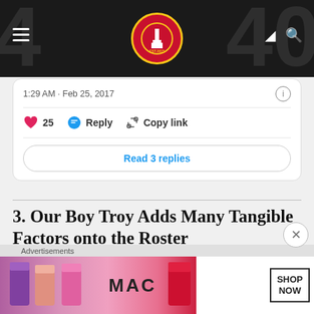FlamesNation.ca website header with logo, hamburger menu, dark/light mode toggle, and search icon
1:29 AM · Feb 25, 2017
25  Reply  Copy link
Read 3 replies
3. Our Boy Troy Adds Many Tangible Factors onto the Roster
We've watched Brouwer play 74 regular season games with the Flames, and we've gotten a pretty good idea of what h
[Figure (screenshot): MAC cosmetics advertisement banner showing lipsticks with MAC logo and SHOP NOW button]
Advertisements